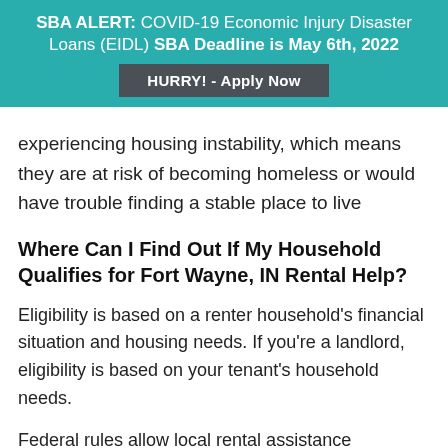SBA ALERT: COVID-19 Economic Injury Disaster Loans (EIDL) SBA Deadline is May 6th, 2022
HURRY! - Apply Now
experiencing housing instability, which means they are at risk of becoming homeless or would have trouble finding a stable place to live
Where Can I Find Out If My Household Qualifies for Fort Wayne, IN Rental Help?
Eligibility is based on a renter household's financial situation and housing needs. If you're a landlord, eligibility is based on your tenant's household needs.
Federal rules allow local rental assistance programs to cover rent or utilities for low-income families. This generally includes renter households with income up